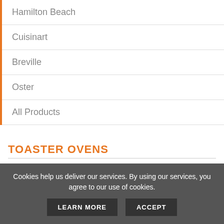Hamilton Beach
Cuisinart
Breville
Oster
All Products
TOASTER OVENS
Black & Decker
Breville
Cookies help us deliver our services. By using our services, you agree to our use of cookies.
LEARN MORE
ACCEPT